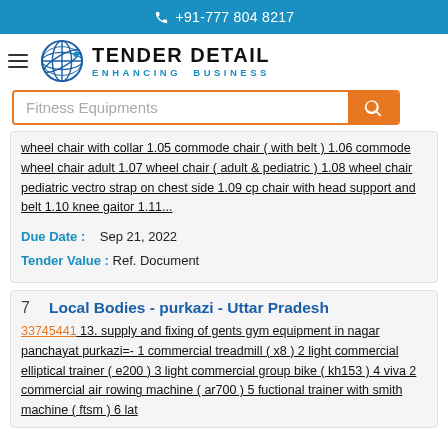+91-777 804 8217
[Figure (logo): Tender Detail logo with globe icon and tagline ENHANCING BUSINESS]
Fitness Equipments (search input)
wheel chair with collar 1.05 commode chair ( with belt ) 1.06 commode wheel chair adult 1.07 wheel chair ( adult & pediatric ) 1.08 wheel chair pediatric vectro strap on chest side 1.09 cp chair with head support and belt 1.10 knee gaitor 1.11...
Due Date : Sep 21, 2022
Tender Value : Ref. Document
7  Local Bodies - purkazi - Uttar Pradesh
33745441 13. supply and fixing of gents gym equipment in nagar panchayat purkazi=- 1 commercial treadmill ( x8 ) 2 light commercial elliptical trainer ( e200 ) 3 light commercial group bike ( kh153 ) 4 viva 2 commercial air rowing machine ( ar700 ) 5 fuctional trainer with smith machine ( ftsm ) 6 lat pulldown...